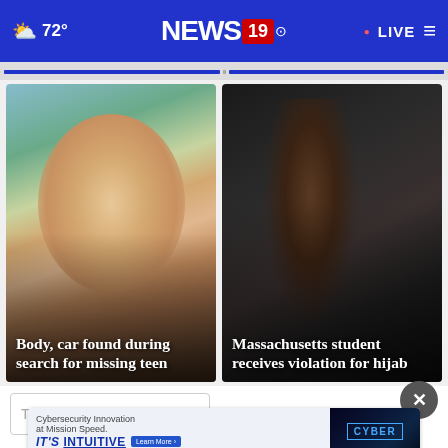☁ 72° NEWS 19 • LIVE
[Figure (photo): Photo of a young blonde woman smiling, outdoors]
Body, car found during search for missing teen
[Figure (photo): Dark silhouette profile of a person against dark background]
Massachusetts student receives violation for hijab
Top Stories
[Figure (other): Advertisement: Cybersecurity Innovation at Mission Speed. IT'S INTUITIVE. Learn More.]